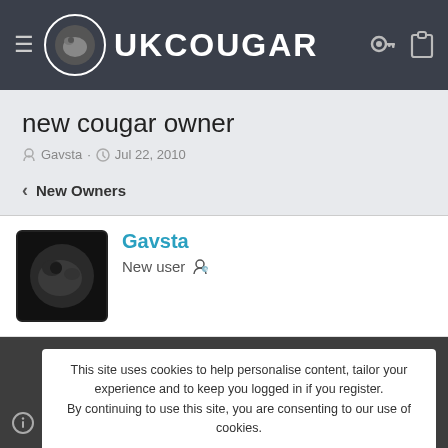UKCOUGAR
new cougar owner
Gavsta · Jul 22, 2010
< New Owners
Gavsta
New user
This site uses cookies to help personalise content, tailor your experience and to keep you logged in if you register. By continuing to use this site, you are consenting to our use of cookies.
Accept   Learn more...